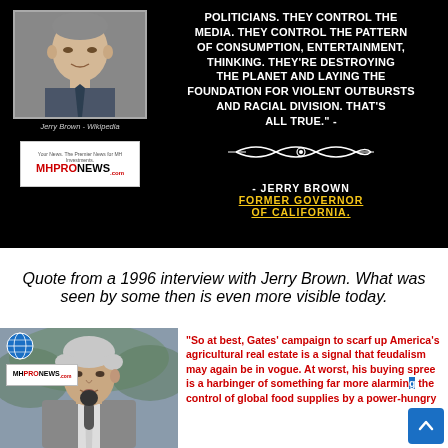[Figure (photo): Black background image with photo of Jerry Brown on left, MHProNews logo, and a bold white/yellow text quote attributed to Jerry Brown, Former Governor of California]
Quote from a 1996 interview with Jerry Brown. What was seen by some then is even more visible today.
[Figure (photo): Photo of RFK Jr. speaking at a microphone, with MHProNews logo overlay and globe icon, next to a red bold quote about Gates' campaign to scarf up America's agricultural real estate]